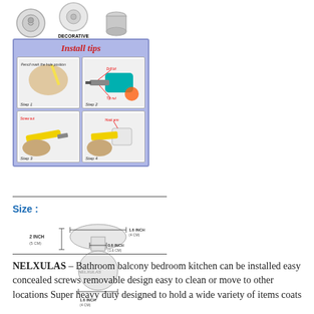[Figure (illustration): Three product parts shown: Hook Base (circular with keyhole), Decorative Cover (round disc), Hook Arm (cylindrical tube), each labeled below]
[Figure (illustration): Install tips diagram with lavender background showing 4 steps in a 2x2 grid: Step 1 - pencil mark hole position, Step 2 - drill tool with drill bit and tip nut labeled, Step 3 - screw in with screwdriver, Step 4 - attach hook arm with decorative cover]
Size :
[Figure (engineering-diagram): Dimensional diagram of hook product showing: 2 INCH (5 CM) height, 0.6 INCH (1.6 CM) neck width, 1.6 INCH (4 CM) top width, 1.6 INCH (4 CM) base width, with NELXULAS watermark]
NELXULAS – Bathroom balcony bedroom kitchen can be installed easy concealed screws removable design easy to clean or move to other locations Super heavy duty designed to hold a wide variety of items coats